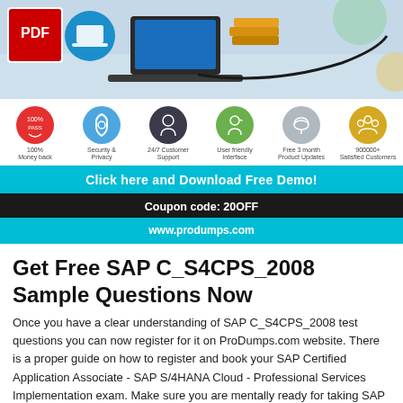[Figure (illustration): Banner image showing PDF logo, laptop, books and study materials with a cord/cable, light blue/gray background]
[Figure (infographic): Six feature icons in circles: 100% Money back (red), Security & Privacy (blue), 24/7 Customer Support (dark gray), User Friendly Interface (green), Free 3 month Product Updates (light gray), 900000+ Satisfied Customers (yellow)]
Click here and Download Free Demo!
Coupon code: 20OFF
www.produmps.com
Get Free SAP C_S4CPS_2008 Sample Questions Now
Once you have a clear understanding of SAP C_S4CPS_2008 test questions you can now register for it on ProDumps.com website. There is a proper guide on how to register and book your SAP Certified Application Associate - SAP S/4HANA Cloud - Professional Services Implementation exam. Make sure you are mentally ready for taking SAP C_S4CPS_2008 dumps as it is an easy level certification, so you have to prepare for it accordingly. Once you have given and passed the SAP Certified Application Associate - SAP S/4HANA Cloud -